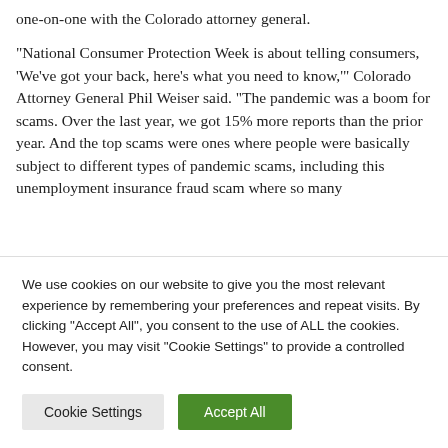one-on-one with the Colorado attorney general.
“National Consumer Protection Week is about telling consumers, ‘We’ve got your back, here’s what you need to know,’” Colorado Attorney General Phil Weiser said. “The pandemic was a boom for scams. Over the last year, we got 15% more reports than the prior year. And the top scams were ones where people were basically subject to different types of pandemic scams, including this unemployment insurance fraud scam where so many
We use cookies on our website to give you the most relevant experience by remembering your preferences and repeat visits. By clicking “Accept All”, you consent to the use of ALL the cookies. However, you may visit "Cookie Settings" to provide a controlled consent.